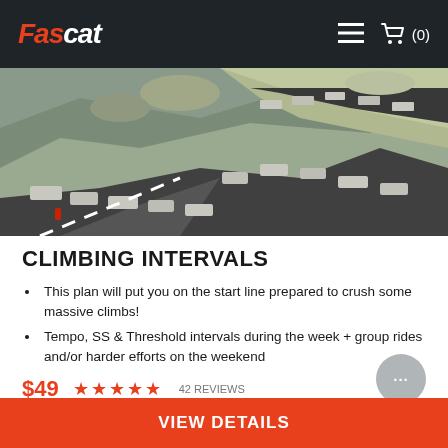FasCat
[Figure (photo): Aerial view of a mountain road switchback with stone walls along a steep rocky hillside, cyclists visible.]
CLIMBING INTERVALS
This plan will put you on the start line prepared to crush some massive climbs!
Tempo, SS & Threshold intervals during the week + group rides and/or harder efforts on the weekend
$49  ★★★★★ 42 REVIEWS